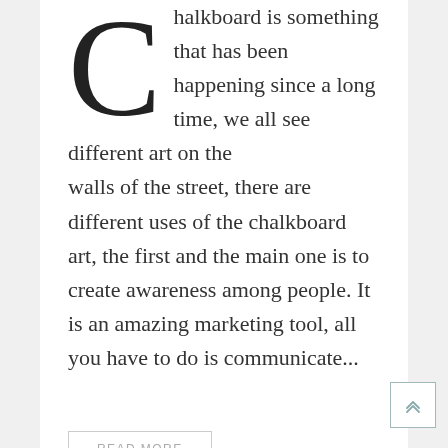Chalkboard is something that has been happening since a long time, we all see different art on the walls of the street, there are different uses of the chalkboard art, the first and the main one is to create awareness among people. It is an amazing marketing tool, all you have to do is communicate...
READ MORE